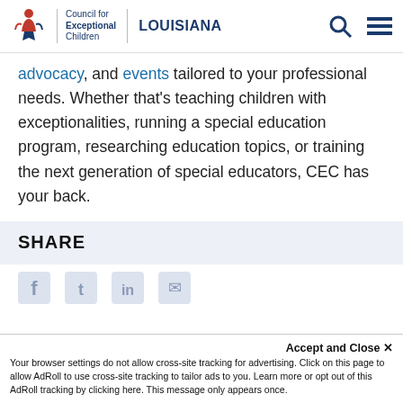Council for Exceptional Children | LOUISIANA
advocacy, and events tailored to your professional needs. Whether that’s teaching children with exceptionalities, running a special education program, researching education topics, or training the next generation of special educators, CEC has your back.
SHARE
Accept and Close ×
Your browser settings do not allow cross-site tracking for advertising. Click on this page to allow AdRoll to use cross-site tracking to tailor ads to you. Learn more or opt out of this AdRoll tracking by clicking here. This message only appears once.